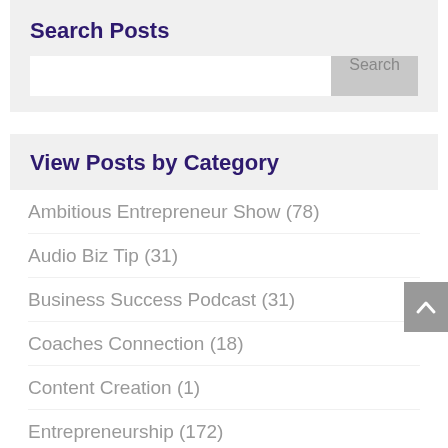Search Posts
Search
View Posts by Category
Ambitious Entrepreneur Show (78)
Audio Biz Tip (31)
Business Success Podcast (31)
Coaches Connection (18)
Content Creation (1)
Entrepreneurship (172)
Hire Staff (1)
Industry Thought Leader Podcast (81)
(78)